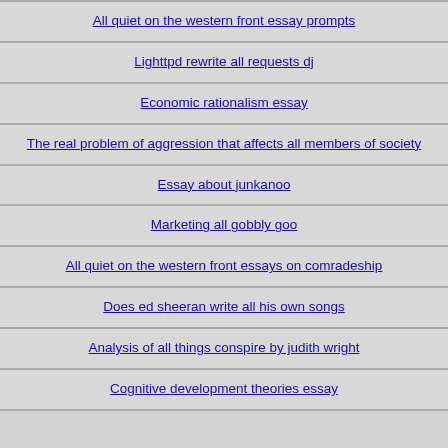All quiet on the western front essay prompts
Lighttpd rewrite all requests dj
Economic rationalism essay
The real problem of aggression that affects all members of society
Essay about junkanoo
Marketing all gobbly goo
All quiet on the western front essays on comradeship
Does ed sheeran write all his own songs
Analysis of all things conspire by judith wright
Cognitive development theories essay